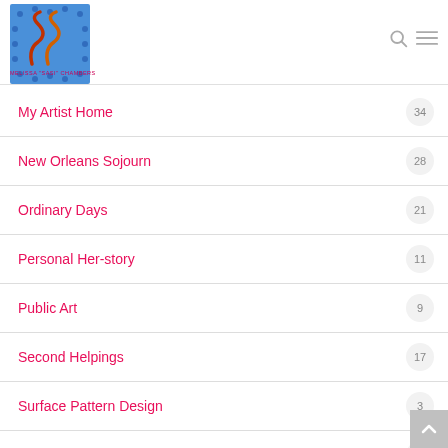MELISSA 'SASI' CHAMBERS
My Artist Home  34
New Orleans Sojourn  28
Ordinary Days  21
Personal Her-story  11
Public Art  9
Second Helpings  17
Surface Pattern Design  3
Tarpage  36